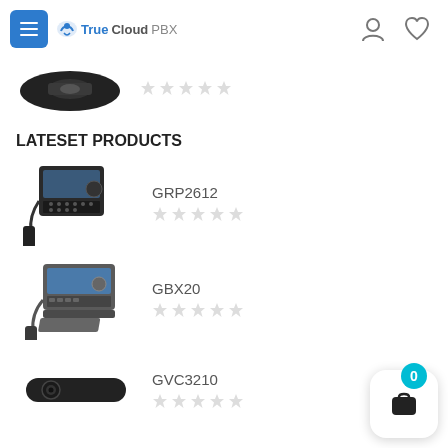TrueCloud PBX navigation header
[Figure (photo): Conference phone device (dark, oval shaped) partially cropped at top]
LATESET PRODUCTS
[Figure (photo): GRP2612 desktop IP phone]
GRP2612
[Figure (photo): GBX20 desktop IP phone]
GBX20
[Figure (photo): GVC3210 video conferencing camera bar]
GVC3210